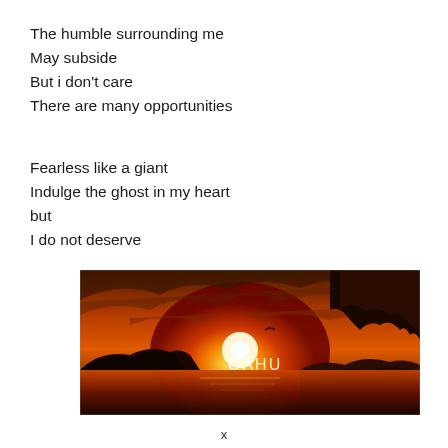The humble surrounding me
May subside
But i don't care
There are many opportunities

Fearless like a giant
Indulge the ghost in my heart
but
I do not deserve
[Figure (photo): Sunset landscape photo showing a dramatic orange and red sky over the ocean with rocky cliffs on the right and a silhouette of a mountain/island on the left. The word 'OAHU' is overlaid in white text in the center of the image.]
x